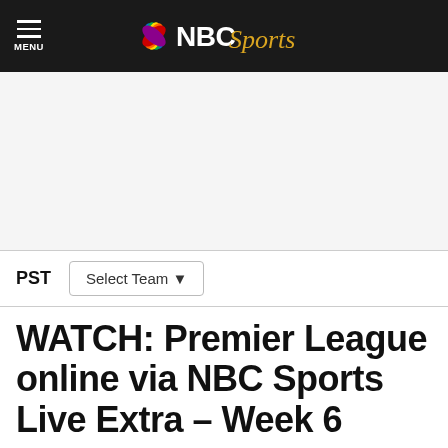NBC Sports — MENU header
[Figure (screenshot): NBC Sports logo with peacock multi-color feather icon on dark header bar]
PST  Select Team
WATCH: Premier League online via NBC Sports Live Extra – Week 6
By Joe Prince-Wright  Sep 27, 2014, 7:00 AM EDT